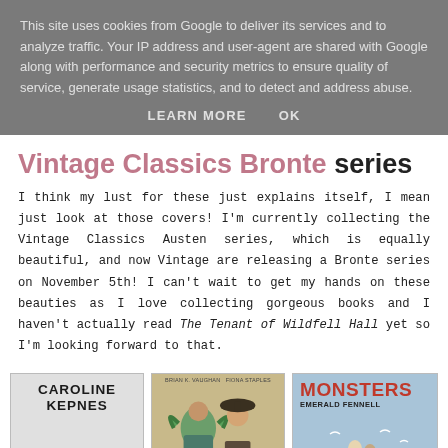This site uses cookies from Google to deliver its services and to analyze traffic. Your IP address and user-agent are shared with Google along with performance and security metrics to ensure quality of service, generate usage statistics, and to detect and address abuse.
LEARN MORE   OK
Vintage Classics Bronte series
I think my lust for these just explains itself, I mean just look at those covers! I'm currently collecting the Vintage Classics Austen series, which is equally beautiful, and now Vintage are releasing a Bronte series on November 5th! I can't wait to get my hands on these beauties as I love collecting gorgeous books and I haven't actually read The Tenant of Wildfell Hall yet so I'm looking forward to that.
[Figure (photo): Three book covers side by side: Caroline Kepnes book with red title letters at bottom, a middle book with illustrated figures, and 'Monsters' by Emerald Fennell with blue cover]